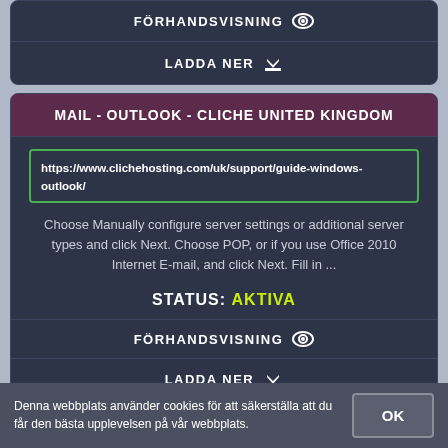[Figure (screenshot): Top card with FÖRHANDSVISNING (eye icon) and LADDA NER (download icon) buttons on dark background]
MAIL - OUTLOOK - CLICHE UNITED KINGDOM
https://www.clichehosting.com/uk/support/guide-windows-outlook/
Choose Manually configure server settings or additional server types and click Next. Choose POP, or if you use Office 2010 Internet E-mail, and click Next. Fill in ...
STATUS: AKTIVA
FÖRHANDSVISNING
LADDA NER
Denna webbplats använder cookies för att säkerställa att du får den bästa upplevelsen på vår webbplats.